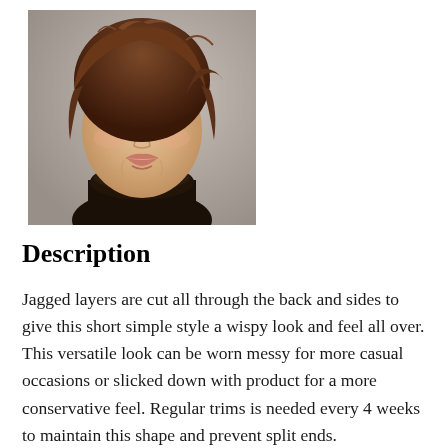[Figure (photo): Portrait photo of a woman with short layered brown hair with side-swept bangs, wearing a black turtleneck, with green eyes and makeup, against a gray background.]
Description
Jagged layers are cut all through the back and sides to give this short simple style a wispy look and feel all over. This versatile look can be worn messy for more casual occasions or slicked down with product for a more conservative feel. Regular trims is needed every 4 weeks to maintain this shape and prevent split ends.